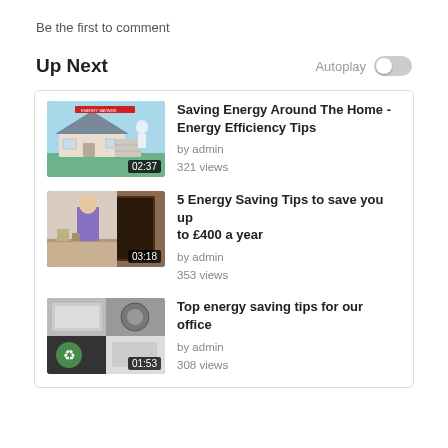Be the first to comment
Up Next
Autoplay
[Figure (screenshot): Video thumbnail of animated house illustration with duration 02:37]
Saving Energy Around The Home - Energy Efficiency Tips
by admin
321 views
[Figure (screenshot): Video thumbnail of person in kitchen with duration 03:18]
5 Energy Saving Tips to save you up to £400 a year
by admin
353 views
[Figure (screenshot): Video thumbnail collage of office/energy images with duration 01:53]
Top energy saving tips for our office
by admin
308 views